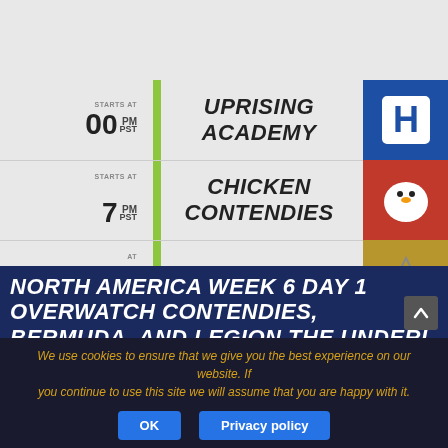[Figure (screenshot): Overwatch Contenders schedule listing showing team names: Uprising Academy, Chicken Contendies, Bermuda, and a fourth team partially visible. Each row has a time on the left (partially cropped), a green vertical bar separator, team name in bold italic, and team logo on the right.]
NORTH AMERICA WEEK 6 DAY 1 OVERWATCH CON... CONTENDIES, BERMUDA, AND LEGION THE UNDERL...
We use cookies to ensure that we give you the best experience on our website. If you continue to use this site we will assume that you are happy with it.
OK   Privacy policy